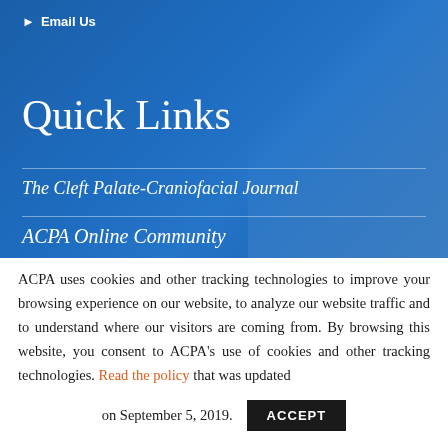▶ Email Us
Quick Links
The Cleft Palate-Craniofacial Journal
ACPA Online Community
ACPA uses cookies and other tracking technologies to improve your browsing experience on our website, to analyze our website traffic and to understand where our visitors are coming from. By browsing this website, you consent to ACPA's use of cookies and other tracking technologies. Read the policy that was updated on September 5, 2019.
ACCEPT